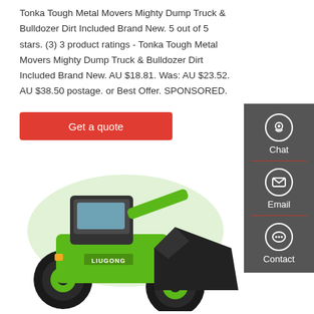Tonka Tough Metal Movers Mighty Dump Truck & Bulldozer Dirt Included Brand New. 5 out of 5 stars. (3) 3 product ratings - Tonka Tough Metal Movers Mighty Dump Truck & Bulldozer Dirt Included Brand New. AU $18.81. Was: AU $23.52. AU $38.50 postage. or Best Offer. SPONSORED.
[Figure (other): Red button labeled 'Get a quote']
[Figure (other): Dark grey sidebar with Chat, Email, and Contact icons]
[Figure (photo): Green LiuGong wheel loader / bulldozer construction machine on white background]